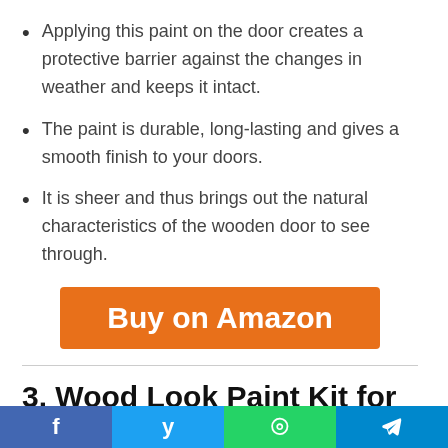Applying this paint on the door creates a protective barrier against the changes in weather and keeps it intact.
The paint is durable, long-lasting and gives a smooth finish to your doors.
It is sheer and thus brings out the natural characteristics of the wooden door to see through.
[Figure (other): Orange 'Buy on Amazon' button]
3. Wood Look Paint Kit for Garage Doors
[Figure (other): Partial product image preview at bottom]
f  y  ⊕  ✈ (social share bar: Facebook, Twitter, WhatsApp, Telegram)